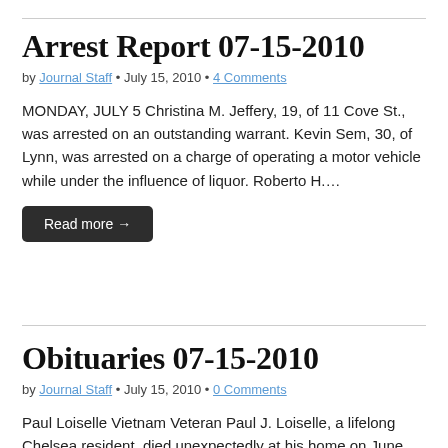Arrest Report 07-15-2010
by Journal Staff • July 15, 2010 • 4 Comments
MONDAY, JULY 5 Christina M. Jeffery, 19, of 11 Cove St., was arrested on an outstanding warrant. Kevin Sem, 30, of Lynn, was arrested on a charge of operating a motor vehicle while under the influence of liquor. Roberto H….
Read more →
Obituaries 07-15-2010
by Journal Staff • July 15, 2010 • 0 Comments
Paul Loiselle Vietnam Veteran Paul J. Loiselle, a lifelong Chelsea resident, died unexpectedly at his home on June 27. He was 69